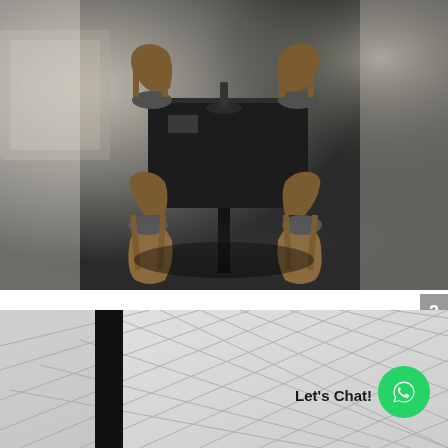[Figure (photo): Restaurant interior with a black square table surrounded by wooden chairs with grey leather seats, dark polished floor, bright background]
[Figure (photo): Architectural interior with glass panels and geometric diamond/rhombus grid pattern, partially obscured by a dark vertical element]
2
Let's Chat!